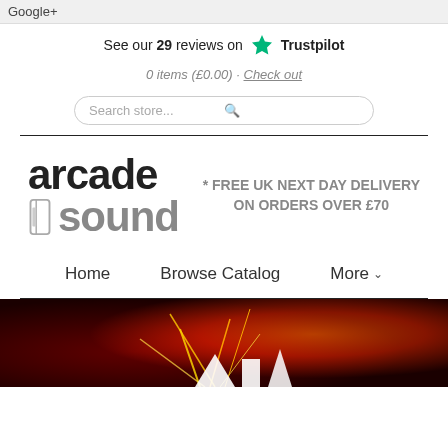Google+
See our 29 reviews on Trustpilot
0 items (£0.00) · Check out
Search store...
[Figure (logo): Arcade Sound logo with speaker icon]
* FREE UK NEXT DAY DELIVERY ON ORDERS OVER £70
Home   Browse Catalog   More
[Figure (photo): Red fireworks/explosions banner image at bottom]